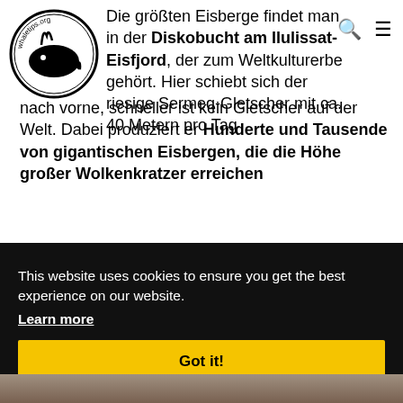[Figure (logo): Circular whale/whaletips.org logo in black and white]
Die größten Eisberge findet man in der Diskobucht am Ilulissat-Eisfjord, der zum Weltkulturerbe gehört. Hier schiebt sich der riesige Sermeq-Gletscher mit ca. 40 Metern pro Tag nach vorne, schneller ist kein Gletscher auf der Welt. Dabei produziert er Hunderte und Tausende von gigantischen Eisbergen, die die Höhe großer Wolkenkratzer erreichen
This website uses cookies to ensure you get the best experience on our website.
Learn more
Got it!
[Figure (photo): Bottom strip of a photo, appears to show rocky/icy terrain]